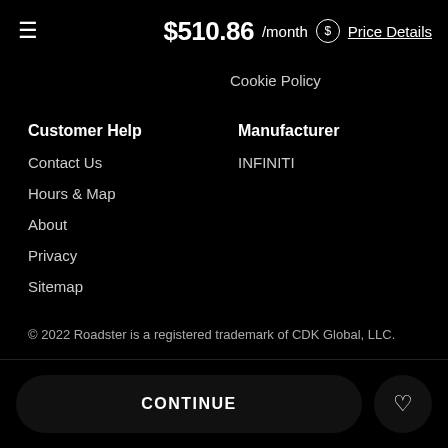≡  $510.86 /month  (S) Price Details
Cookie Policy
Customer Help
Contact Us
Hours & Map
About
Privacy
Sitemap
Manufacturer
INFINITI
Language
🇺🇸  English  ∨
© 2022 Roadster is a registered trademark of CDK Global, LLC.
CONTINUE